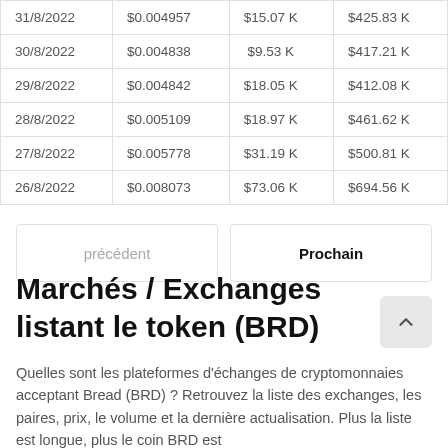| Date | Prix | Volume | Cap. Marché |
| --- | --- | --- | --- |
| 31/8/2022 | $0.004957 | $15.07 K | $425.83 K |
| 30/8/2022 | $0.004838 | $9.53 K | $417.21 K |
| 29/8/2022 | $0.004842 | $18.05 K | $412.08 K |
| 28/8/2022 | $0.005109 | $18.97 K | $461.62 K |
| 27/8/2022 | $0.005778 | $31.19 K | $500.81 K |
| 26/8/2022 | $0.008073 | $73.06 K | $694.56 K |
précédent
Prochain
Marchés / Exchanges listant le token (BRD)
Quelles sont les plateformes d'échanges de cryptomonnaies acceptant Bread (BRD) ? Retrouvez la liste des exchanges, les paires, prix, le volume et la dernière actualisation. Plus la liste est longue, plus le coin BRD est